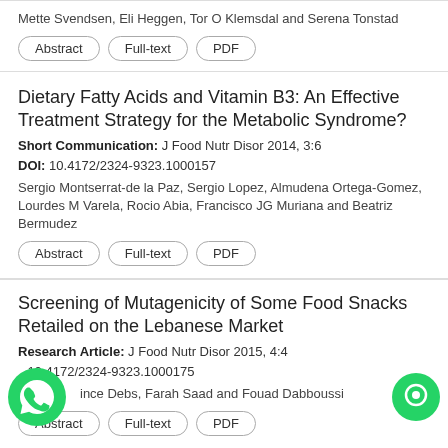Mette Svendsen, Eli Heggen, Tor O Klemsdal and Serena Tonstad
Abstract | Full-text | PDF
Dietary Fatty Acids and Vitamin B3: An Effective Treatment Strategy for the Metabolic Syndrome?
Short Communication: J Food Nutr Disor 2014, 3:6
DOI: 10.4172/2324-9323.1000157
Sergio Montserrat-de la Paz, Sergio Lopez, Almudena Ortega-Gomez, Lourdes M Varela, Rocio Abia, Francisco JG Muriana and Beatriz Bermudez
Abstract | Full-text | PDF
Screening of Mutagenicity of Some Food Snacks Retailed on the Lebanese Market
Research Article: J Food Nutr Disor 2015, 4:4
DOI: 10.4172/2324-9323.1000175
Ince Debs, Farah Saad and Fouad Dabboussi
Abstract | Full-text | PDF